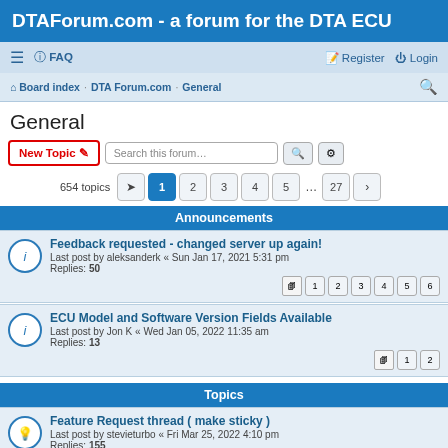DTAForum.com - a forum for the DTA ECU
≡  FAQ    Register  Login
Board index · DTA Forum.com · General
General
New Topic  Search this forum…
654 topics  1 2 3 4 5 ... 27 >
Announcements
Feedback requested - changed server up again!
Last post by aleksanderk « Sun Jan 17, 2021 5:31 pm
Replies: 50
Pages: 1 2 3 4 5 6
ECU Model and Software Version Fields Available
Last post by Jon K « Wed Jan 05, 2022 11:35 am
Replies: 13
Pages: 1 2
Topics
Feature Request thread ( make sticky )
Last post by stevieturbo « Fri Mar 25, 2022 4:10 pm
Replies: 155
Pages: 1 ... 13 14 15 16